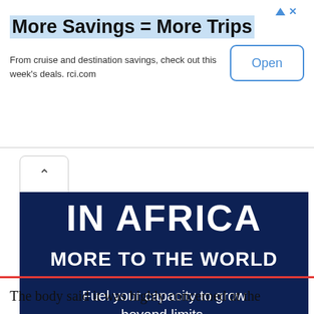More Savings = More Trips
From cruise and destination savings, check out this week's deals. rci.com
[Figure (illustration): Access Bank advertisement featuring a nighttime industrial/cityscape skyline. White bold text reads 'IN AFRICA MORE TO THE WORLD'. Below that: 'Fuel your capacity to grow beyond limits.' An orange pill-shaped button labeled 'Learn More'. At the bottom, the Access Bank logo with 'more than banking' tagline on a white diagonal banner.]
The body said it was highly concerned at the